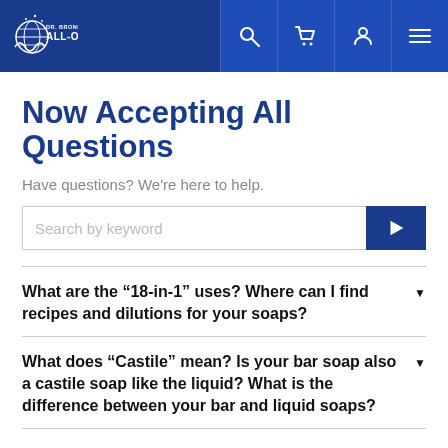Dr. Bronner's ALL-ONE! navigation bar with search, cart, account, and menu icons
Now Accepting All Questions
Have questions? We're here to help.
Search by keyword
What are the “18-in-1” uses? Where can I find recipes and dilutions for your soaps?
What does “Castile” mean? Is your bar soap also a castile soap like the liquid? What is the difference between your bar and liquid soaps?